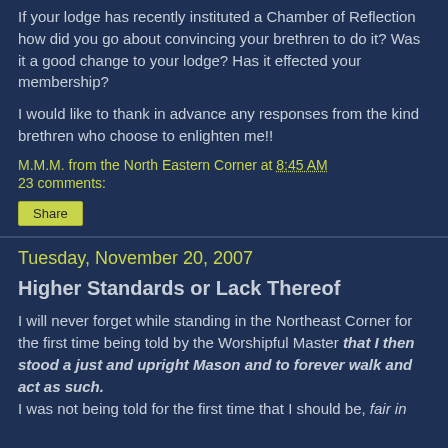If your lodge has recently instituted a Chamber of Reflection how did you go about convincing your brethren to do it? Was it a good change to your lodge? Has it effected your membership?
I would like to thank in advance any responses from the kind brethren who choose to enlighten me!!
M.M.M. from the North Eastern Corner at 8:45 AM
23 comments:
Share
Tuesday, November 20, 2007
Higher Standards or Lack Thereof
I will never forget while standing in the Northeast Corner for the first time being told by the Worshipful Master that I then stood a just and upright Mason and to forever walk and act as such. I was not being told for the first time that I should be, fair in